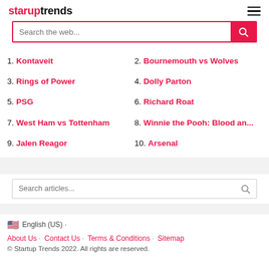staruptrends
1. Kontaveit
2. Bournemouth vs Wolves
3. Rings of Power
4. Dolly Parton
5. PSG
6. Richard Roat
7. West Ham vs Tottenham
8. Winnie the Pooh: Blood an...
9. Jalen Reagor
10. Arsenal
Search articles...
🇺🇸 English (US) ·
About Us · Contact Us · Terms & Conditions · Sitemap
© Startup Trends 2022. All rights are reserved.